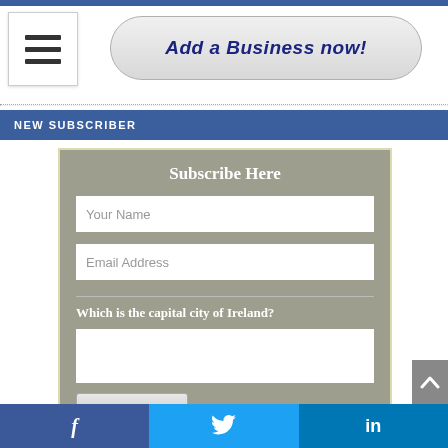[Figure (other): Hamburger menu icon (three horizontal lines) in a white box]
Add a Business now!
NEW SUBSCRIBER
Subscribe Here
Your Name
Email Address
Which is the capital city of Ireland?
f  (Twitter bird)  in